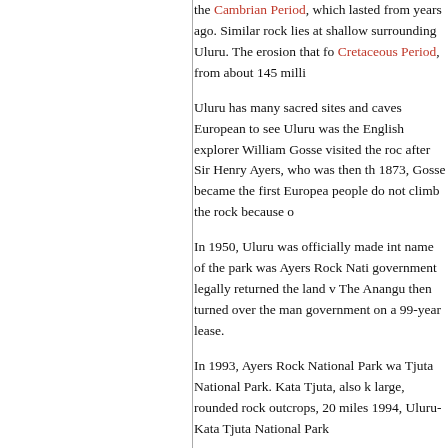the Cambrian Period, which lasted from years ago. Similar rock lies at shallow surrounding Uluru. The erosion that fo Cretaceous Period, from about 145 milli
Uluru has many sacred sites and caves European to see Uluru was the English explorer William Gosse visited the roc after Sir Henry Ayers, who was then th 1873, Gosse became the first Europea people do not climb the rock because o
In 1950, Uluru was officially made int name of the park was Ayers Rock Nati government legally returned the land v The Anangu then turned over the man government on a 99-year lease.
In 1993, Ayers Rock National Park wa Tjuta National Park. Kata Tjuta, also k large, rounded rock outcrops, 20 miles 1994, Uluru-Kata Tjuta National Park